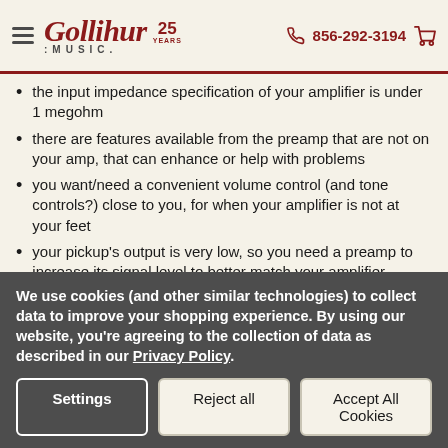Gollihur Music — 25 Years — 856-292-3194
the input impedance specification of your amplifier is under 1 megohm
there are features available from the preamp that are not on your amp, that can enhance or help with problems
you want/need a convenient volume control (and tone controls?) close to you, for when your amplifier is not at your feet
your pickup's output is very low, so you need a preamp to increase its signal level to better match your amplifier
you want to blend multiple pickups, or a pickup and mic, etc.
you need a good DI interface to send a feed to the soundman
We use cookies (and other similar technologies) to collect data to improve your shopping experience. By using our website, you're agreeing to the collection of data as described in our Privacy Policy.